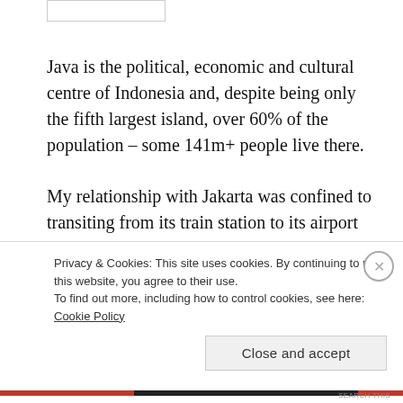[Figure (other): Partial image stub visible at top of page]
Java is the political, economic and cultural centre of Indonesia and, despite being only the fifth largest island, over 60% of the population – some 141m+ people live there.
My relationship with Jakarta was confined to transiting from its train station to its airport and with Surabaya
Privacy & Cookies: This site uses cookies. By continuing to use this website, you agree to their use.
To find out more, including how to control cookies, see here: Cookie Policy
Close and accept